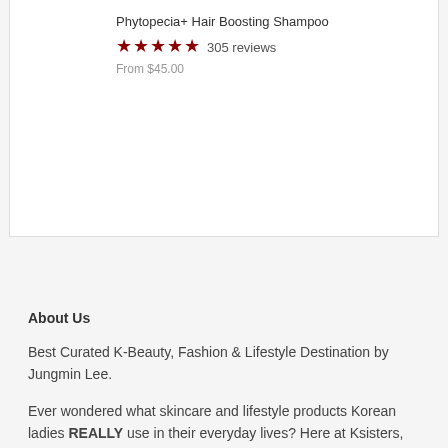Phytopecia+ Hair Boosting Shampoo
★★★★★ 305 reviews
From $45.00
About Us
Best Curated K-Beauty, Fashion & Lifestyle Destination by Jungmin Lee.
Ever wondered what skincare and lifestyle products Korean ladies REALLY use in their everyday lives? Here at Ksisters,